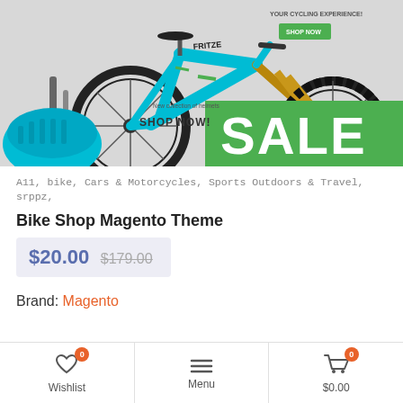[Figure (photo): E-commerce bike shop hero banner showing a cyan/teal mountain bike with green accents, a cycling helmet, and a green 'SALE' banner. Text reads 'YOUR CYCLING EXPERIENCE!' with a green 'SHOP NOW' button and a bottom section with 'New collection of helmets' and 'SHOP NOW!' text.]
A11, bike, Cars & Motorcycles, Sports Outdoors & Travel, srppz,
Bike Shop Magento Theme
$20.00 $179.00
Brand: Magento
Wishlist 0  Menu  $0.00 0